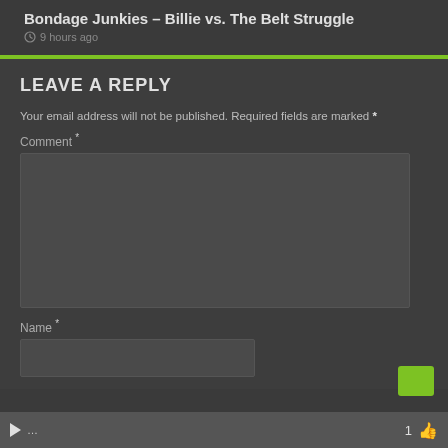Bondage Junkies – Billie vs. The Belt Struggle
9 hours ago
LEAVE A REPLY
Your email address will not be published. Required fields are marked *
Comment *
Name *
1